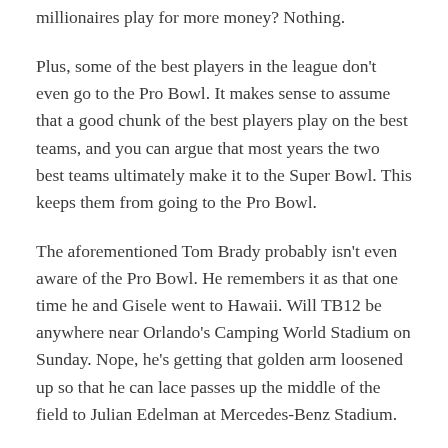millionaires play for more money? Nothing.
Plus, some of the best players in the league don't even go to the Pro Bowl. It makes sense to assume that a good chunk of the best players play on the best teams, and you can argue that most years the two best teams ultimately make it to the Super Bowl. This keeps them from going to the Pro Bowl.
The aforementioned Tom Brady probably isn't even aware of the Pro Bowl. He remembers it as that one time he and Gisele went to Hawaii. Will TB12 be anywhere near Orlando's Camping World Stadium on Sunday. Nope, he's getting that golden arm loosened up so that he can lace passes up the middle of the field to Julian Edelman at Mercedes-Benz Stadium.
I've said my piece. I need to go figure out what the over/under is on the number of Super Bowl commercials that use Queen songs. I'm guessing 3.5.